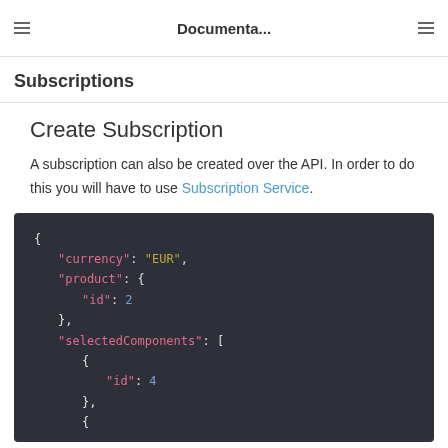Documenta...
Subscriptions
Create Subscription
A subscription can also be created over the API. In order to do this you will have to use Subscription Service.
[Figure (screenshot): Code block showing JSON payload with currency: EUR, product id: 2, selectedComponents array with id: 4]